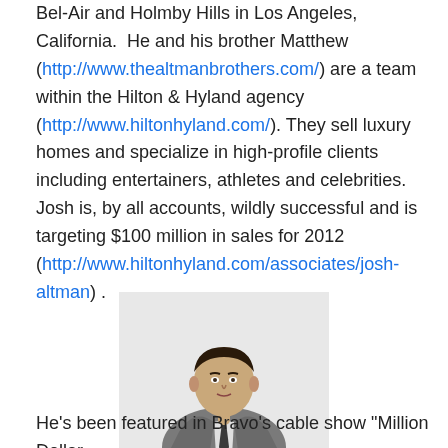Bel-Air and Holmby Hills in Los Angeles, California.  He and his brother Matthew (http://www.thealtmanbrothers.com/) are a team within the Hilton & Hyland agency (http://www.hiltonhyland.com/). They sell luxury homes and specialize in high-profile clients including entertainers, athletes and celebrities.  Josh is, by all accounts, wildly successful and is targeting $100 million in sales for 2012 (http://www.hiltonhyland.com/associates/josh-altman) .
[Figure (photo): Professional photo of Josh Altman, a man in a grey suit with a dark tie, posed against a light background.]
Josh Altman
He's been featured in Bravo's cable show "Million Dollar